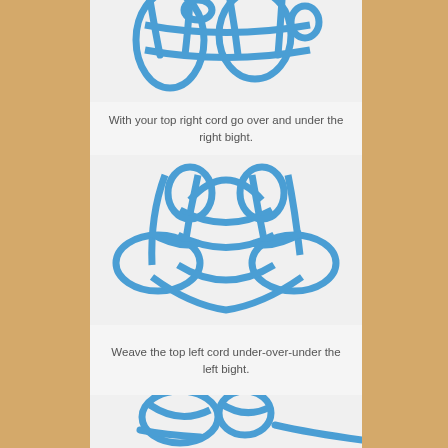[Figure (photo): Blue rope partially showing a decorative knot pattern from the top, on a white background — top portion of a knot tying step]
With your top right cord go over and under the right bight.
[Figure (photo): Blue rope forming a decorative Celtic-style flat knot pattern on a white background — intermediate step]
Weave the top left cord under-over-under the left bight.
[Figure (photo): Blue rope forming a more complex decorative knot pattern on a white background — next step, partially visible]